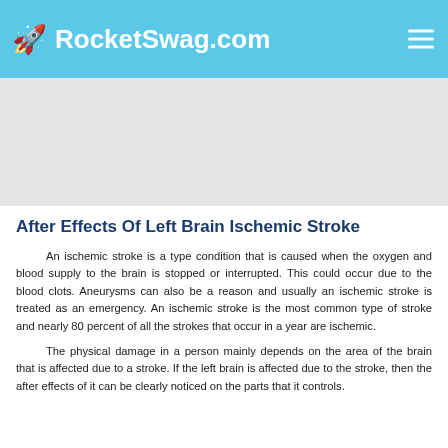RocketSwag.com
[Figure (other): Advertisement banner placeholder (light gray background)]
After Effects Of Left Brain Ischemic Stroke
An ischemic stroke is a type condition that is caused when the oxygen and blood supply to the brain is stopped or interrupted. This could occur due to the blood clots. Aneurysms can also be a reason and usually an ischemic stroke is treated as an emergency. An ischemic stroke is the most common type of stroke and nearly 80 percent of all the strokes that occur in a year are ischemic.
The physical damage in a person mainly depends on the area of the brain that is affected due to a stroke. If the left brain is affected due to the stroke, then the after effects of it can be clearly noticed on the parts that it controls.